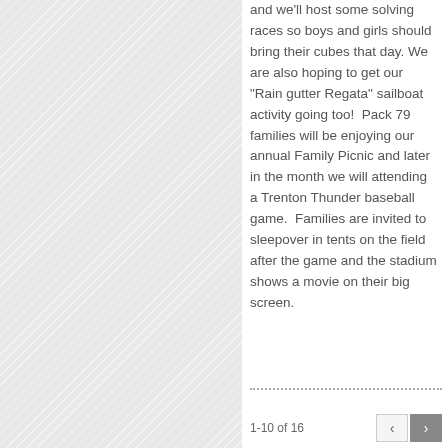[Figure (illustration): Left panel with diagonal hatching/crosshatch pattern background, light grey]
and we'll host some solving races so boys and girls should bring their cubes that day. We are also hoping to get our "Rain gutter Regata" sailboat activity going too!  Pack 79 families will be enjoying our annual Family Picnic and later in the month we will attending a Trenton Thunder baseball game.  Families are invited to sleepover in tents on the field after the game and the stadium shows a movie on their big screen.
1-10 of 16